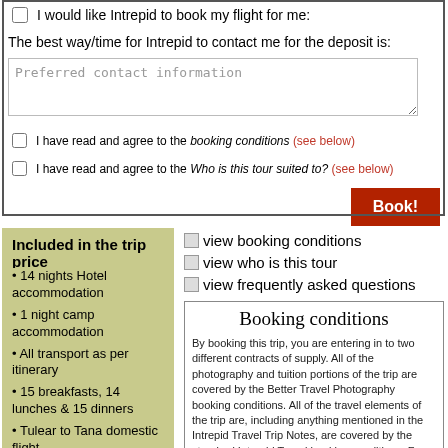I would like Intrepid to book my flight for me:
The best way/time for Intrepid to contact me for the deposit is:
Preferred contact information
I have read and agree to the booking conditions (see below)
I have read and agree to the Who is this tour suited to? (see below)
Book!
Included in the trip price
• 14 nights Hotel accommodation
• 1 night camp accommodation
• All transport as per itinerary
• 15 breakfasts, 14 lunches & 15 dinners
• Tulear to Tana domestic flight
• Tana to Morondava return
view booking conditions
view who is this tour
view frequently asked questions
Booking conditions
By booking this trip, you are entering in to two different contracts of supply. All of the photography and tuition portions of the trip are covered by the Better Travel Photography booking conditions. All of the travel elements of the trip are, including anything mentioned in the Intrepid Travel Trip Notes, are covered by the standard Intrepid Travel booking conditions. For the avoidance of doubt, the contracts of f...